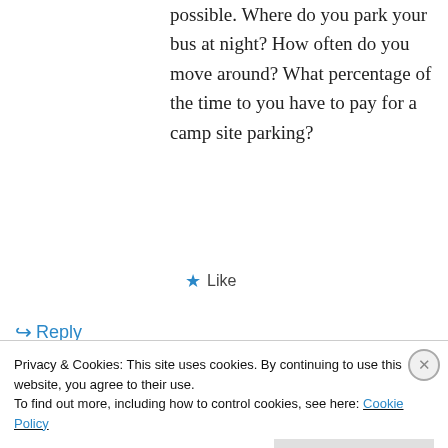possible. Where do you park your bus at night? How often do you move around? What percentage of the time to you have to pay for a camp site parking?
Like
Reply
midwestwanderers on June 21, 2017 at 3:28 am
Privacy & Cookies: This site uses cookies. By continuing to use this website, you agree to their use.
To find out more, including how to control cookies, see here: Cookie Policy
Close and accept